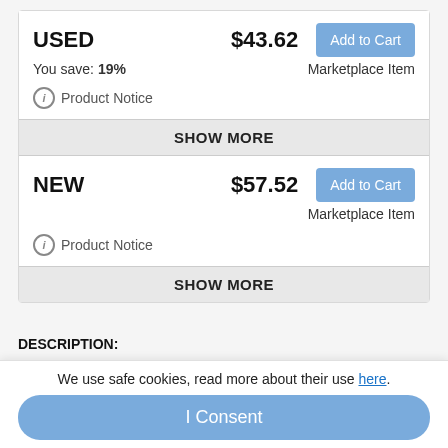USED  $43.62  Add to Cart
You save: 19%  Marketplace Item
ⓘ Product Notice
SHOW MORE
NEW  $57.52  Add to Cart
Marketplace Item
ⓘ Product Notice
SHOW MORE
DESCRIPTION:
Now in paper for the first time, Bitter Music is a generous volume of writings by one of the twentieth century's great musical iconoclasts. Rejecting the equal temperament and concert traditions that have dominated western
We use safe cookies, read more about their use here.
I Consent